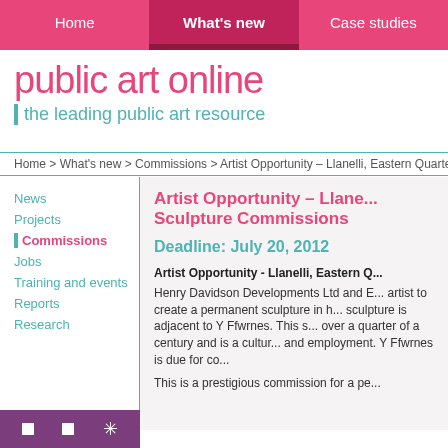Home | What's new | Case studies
public art online
the leading public art resource
Home > What's new > Commissions > Artist Opportunity – Llanelli, Eastern Quarter, Scu...
News
Projects
Commissions
Jobs
Training and events
Reports
Research
Artist Opportunity – Llane... Sculpture Commissions
Deadline: July 20, 2012
Artist Opportunity - Llanelli, Eastern Q...
Henry Davidson Developments Ltd and E... artist to create a permanent sculpture in h... sculpture is adjacent to Y Ffwrnes. This s... over a quarter of a century and is a cultur... and employment. Y Ffwrnes is due for co...
This is a prestigious commission for a pe...